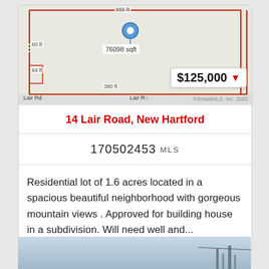[Figure (map): Parcel map showing a rectangular lot at 14 Lair Road, New Hartford. Lot dimensions: 555 ft (top), 380 ft (bottom), 60 ft (left side, partial), 64 ft (left side). Lot area: 76098 sqft. Price overlay: $125,000 with red down arrow. Road labels: Lair Rd. Copyright: ©SmartMLS, Inc. 2022]
14 Lair Road, New Hartford
170502453 MLS
Residential lot of 1.6 acres located in a spacious beautiful neighborhood with gorgeous mountain views . Approved for building house in a subdivision. Will need well and...
[Figure (photo): Partial view of a winter or misty landscape photo at the bottom of the page, showing sky and what appears to be trees or utility poles]